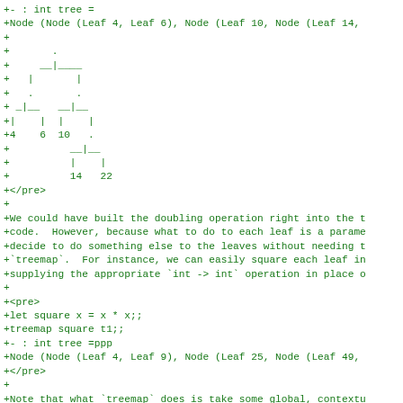+- : int tree =
+Node (Node (Leaf 4, Leaf 6), Node (Leaf 10, Node (Leaf 14,
+
+       .
+     __|____
+   |       |
+   .       .
+ _|__   __|__
+|    |  |    |
+4    6  10   .
+          __|__
+          |    |
+          14   22
+</pre>
+
+We could have built the doubling operation right into the
+code.  However, because what to do to each leaf is a param
+decide to do something else to the leaves without needing
+`treemap`.  For instance, we can easily square each leaf i
+supplying the appropriate `int -> int` operation in place
+
+<pre>
+let square x = x * x;;
+treemap square t1;;
+- : int tree =ppp
+Node (Node (Leaf 4, Leaf 9), Node (Leaf 25, Node (Leaf 49,
+</pre>
+
+Note that what `treemap` does is take some global, context
+information---what to do to each leaf---and supplies that
+to each subpart of the computation.  In other words, `tree
+behavior of a reader monad.  Let's make that explicit.